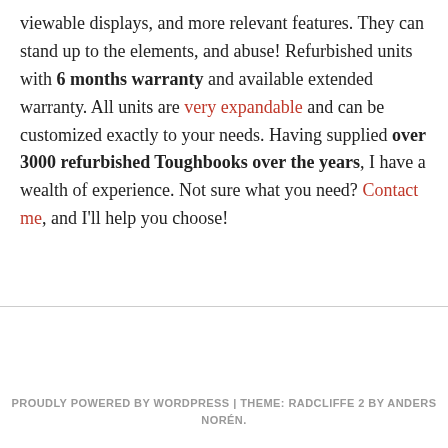viewable displays, and more relevant features. They can stand up to the elements, and abuse! Refurbished units with 6 months warranty and available extended warranty. All units are very expandable and can be customized exactly to your needs. Having supplied over 3000 refurbished Toughbooks over the years, I have a wealth of experience. Not sure what you need? Contact me, and I'll help you choose!
PROUDLY POWERED BY WORDPRESS | THEME: RADCLIFFE 2 BY ANDERS NORÉN.